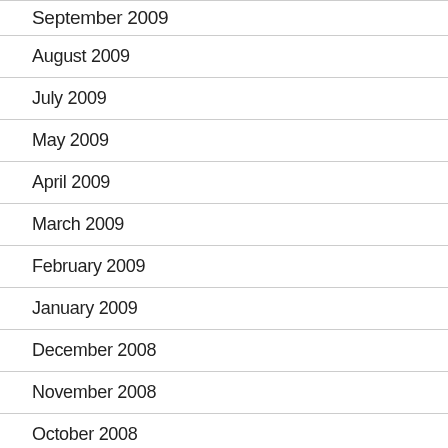September 2009
August 2009
July 2009
May 2009
April 2009
March 2009
February 2009
January 2009
December 2008
November 2008
October 2008
September 2008